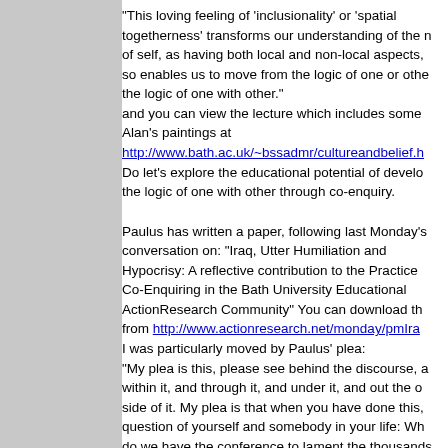"This loving feeling of 'inclusionality' or 'spatial togetherness' transforms our understanding of the nature of self, as having both local and non-local aspects, so enables us to move from the logic of one or other to the logic of one with other." and you can view the lecture which includes some of Alan's paintings at http://www.bath.ac.uk/~bssadmr/cultureandbelief.h Do let's explore the educational potential of developing the logic of one with other through co-enquiry.
Paulus has written a paper, following last Monday's conversation on: "Iraq, Utter Humiliation and Hypocrisy: A reflective contribution to the Practice of Co-Enquiring in the Bath University Educational ActionResearch Community" You can download this from http://www.actionresearch.net/monday/pmIra I was particularly moved by Paulus' plea: "My plea is this, please see behind the discourse, and within it, and through it, and under it, and out the other side of it. My plea is that when you have done this, question of yourself and somebody in your life: Why do we have the conference to lament the thousands of unique and priceless Iraqi's killed by the coalition?